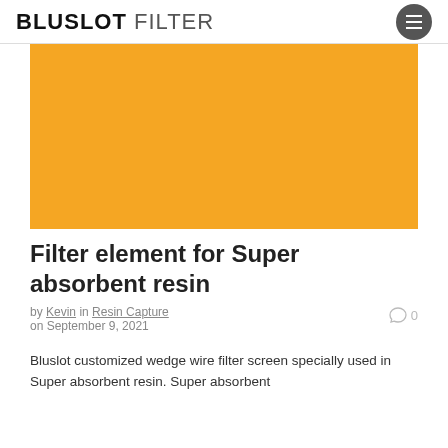BLUSLOT FILTER
[Figure (photo): Orange/amber colored rectangular image placeholder for filter element photo]
Filter element for Super absorbent resin
by Kevin in Resin Capture on September 9, 2021   0
Bluslot customized wedge wire filter screen specially used in Super absorbent resin. Super absorbent